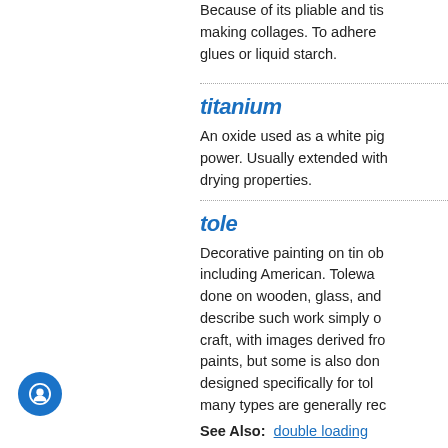Because of its pliable and tissue-like quality, it is excellent for making collages. To adhere tissue paper, use acrylic mediums, white glues or liquid starch.
titanium
An oxide used as a white pigment of great covering power. Usually extended with barium sulfate. Slows oil drying properties.
tole
Decorative painting on tin objects, in many traditions including American. Toleware painting, however, is also done on wooden, glass, and ceramic surfaces. Many people describe such work simply as tole painting. It is a popular craft, with images derived from nature. It is usually done with paints, but some is also done with acrylics. Paints designed specifically for tole painting are available, but many types are generally recommended.
See Also:  double loading